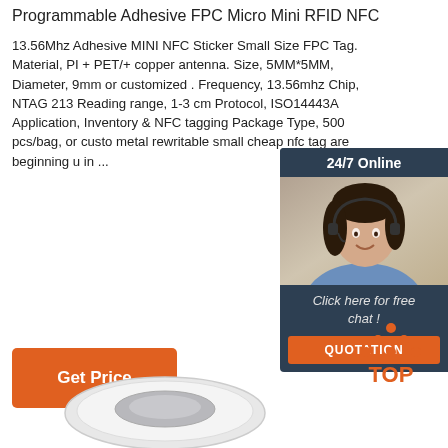Programmable Adhesive FPC Micro Mini RFID NFC
13.56Mhz Adhesive MINI NFC Sticker Small Size FPC Tag. Material, PI + PET/+ copper antenna. Size, 5MM*5MM, Diameter, 9mm or customized . Frequency, 13.56mhz Chip, NTAG 213 Reading range, 1-3 cm Protocol, ISO14443A Application, Inventory & NFC tagging Package Type, 500 pcs/bag, or customized metal rewritable small cheap nfc tag are beginning u in ...
[Figure (photo): Customer service representative chat widget with '24/7 Online' header, woman with headset photo, 'Click here for free chat!' text, and QUOTATION orange button]
[Figure (illustration): TOP logo mark with orange dots arranged in triangle above 'TOP' text in orange]
[Figure (photo): Round white NFC tag product photo, partially visible at bottom of page]
Get Price